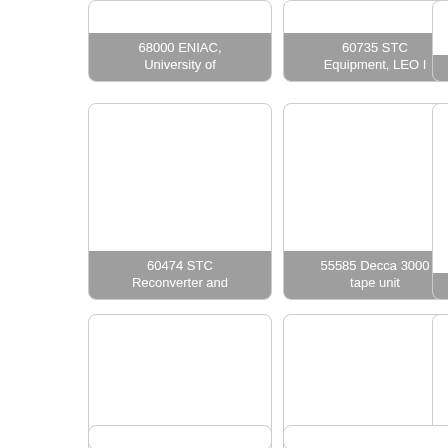[Figure (photo): Card showing '68000 ENIAC, University of' label at bottom, image cropped at top of page]
[Figure (photo): Card showing '60735 STC Equipment, LEO I' label at bottom, image cropped at top of page]
[Figure (photo): Card showing '60474 STC Reconverter and' label at bottom]
[Figure (photo): Card showing '55585 Decca 3000 tape unit' label at bottom]
[Figure (photo): Card showing '61081 Rank xerographic printer' label at bottom]
[Figure (photo): Card showing '60871 LEO II/5 General View' label at bottom]
[Figure (photo): Partial card at bottom left, cropped]
[Figure (photo): Partial card at bottom right, cropped]